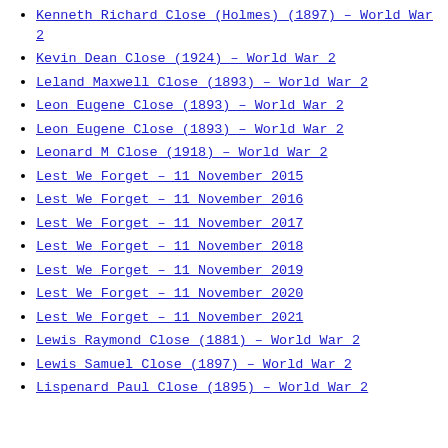Kenneth Richard Close (Holmes) (1897) – World War 2
Kevin Dean Close (1924) – World War 2
Leland Maxwell Close (1893) – World War 2
Leon Eugene Close (1893) – World War 2
Leon Eugene Close (1893) – World War 2
Leonard M Close (1918) – World War 2
Lest We Forget – 11 November 2015
Lest We Forget – 11 November 2016
Lest We Forget – 11 November 2017
Lest We Forget – 11 November 2018
Lest We Forget – 11 November 2019
Lest We Forget – 11 November 2020
Lest We Forget – 11 November 2021
Lewis Raymond Close (1881) – World War 2
Lewis Samuel Close (1897) – World War 2
Lispenard Paul Close (1895) – World War 2